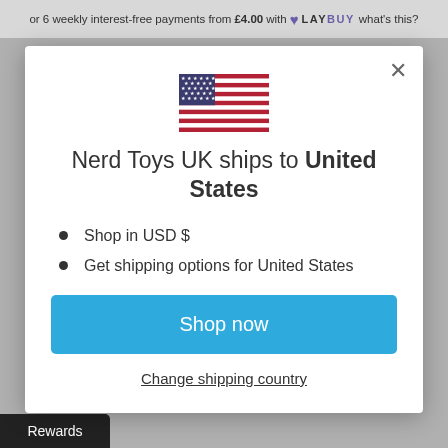or 6 weekly interest-free payments from £4.00 with ♥ LAYBUY what's this?
[Figure (illustration): US flag emoji/icon centered in modal]
Nerd Toys UK ships to United States
Shop in USD $
Get shipping options for United States
Shop now
Change shipping country
Rewards